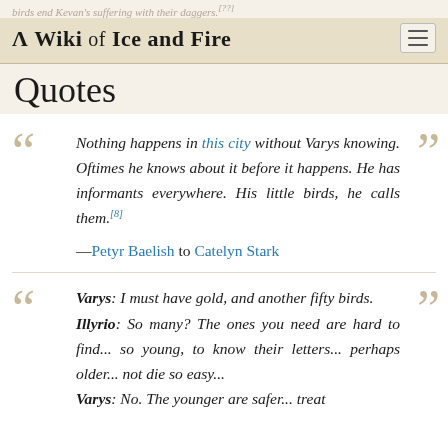birds end Kevan's suffering with their daggers.[??]
A Wiki of Ice and Fire
Quotes
Nothing happens in this city without Varys knowing. Oftimes he knows about it before it happens. He has informants everywhere. His little birds, he calls them.[8]
—Petyr Baelish to Catelyn Stark
Varys: I must have gold, and another fifty birds.
Illyrio: So many? The ones you need are hard to find... so young, to know their letters... perhaps older... not die so easy...
Varys: No. The younger are safer... treat